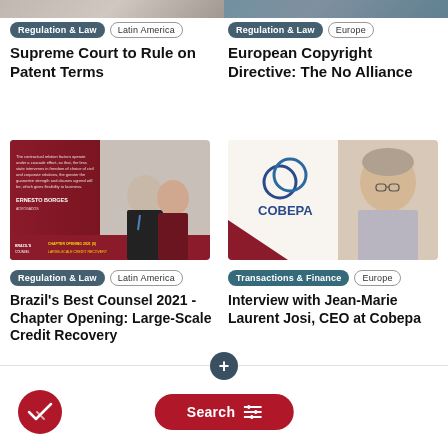[Figure (photo): Top strip with two partial images - left brownish, right blue-teal]
Regulation & Law  Latin America
Supreme Court to Rule on Patent Terms
Regulation & Law  Europe
European Copyright Directive: The No Alliance
[Figure (photo): Brazil's Best Counsel 2021 card image with Ernesto Borger and two people in professional attire, red and white design]
Regulation & Law  Latin America
Brazil's Best Counsel 2021 - Chapter Opening: Large-Scale Credit Recovery
[Figure (photo): Photo of Jean-Marie Laurent Josi with COBEPA logo]
Transactions & Finance  Europe
Interview with Jean-Marie Laurent Josi, CEO at Cobepa
Search (filter icon button)
[Figure (other): Bottom navigation bar with Search button and checkmark icon]